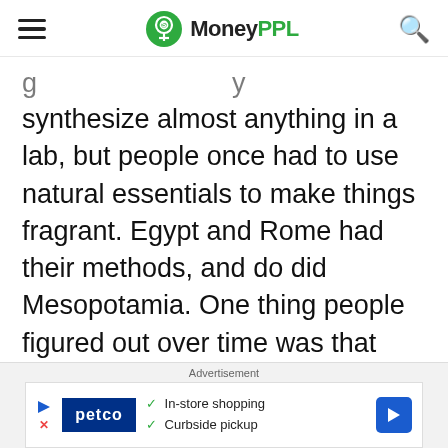MoneyPPL
synthesize almost anything in a lab, but people once had to use natural essentials to make things fragrant. Egypt and Rome had their methods, and do did Mesopotamia. One thing people figured out over time was that perfume was meant to go on special parts of the body. Which ones?
Advertisement